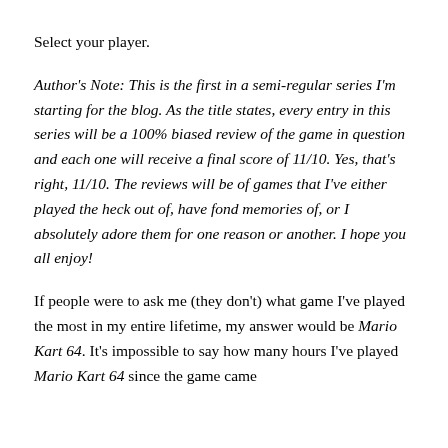Select your player.
Author's Note: This is the first in a semi-regular series I'm starting for the blog. As the title states, every entry in this series will be a 100% biased review of the game in question and each one will receive a final score of 11/10. Yes, that's right, 11/10. The reviews will be of games that I've either played the heck out of, have fond memories of, or I absolutely adore them for one reason or another. I hope you all enjoy!
If people were to ask me (they don't) what game I've played the most in my entire lifetime, my answer would be Mario Kart 64. It's impossible to say how many hours I've played Mario Kart 64 since the game came